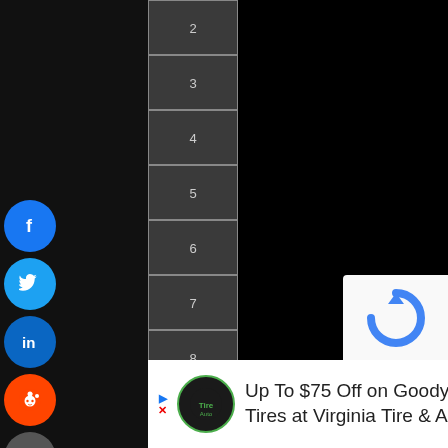2
3
4
5
6
7
8
9
10
11
12
13
14
15
16
[Figure (infographic): Social media share buttons: Facebook (blue), Twitter (blue), LinkedIn (blue), Reddit (orange), Email (gray)]
Up To $75 Off on Goodyear Tires at Virginia Tire & Auto